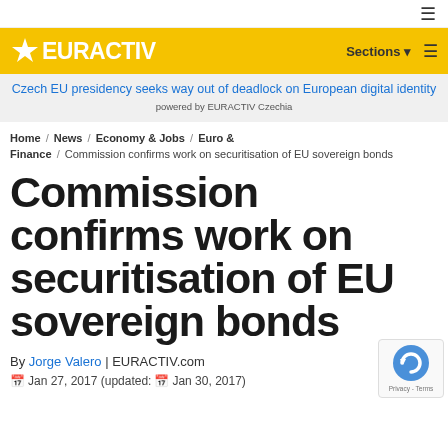≡
[Figure (logo): EURACTIV logo in white text on yellow background with star icon]
Czech EU presidency seeks way out of deadlock on European digital identity powered by EURACTIV Czechia
Home / News / Economy & Jobs / Euro & Finance / Commission confirms work on securitisation of EU sovereign bonds
Commission confirms work on securitisation of EU sovereign bonds
By Jorge Valero | EURACTIV.com
📅 Jan 27, 2017 (updated: 📅 Jan 30, 2017)